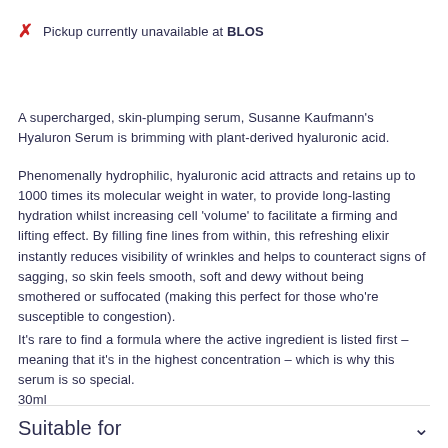✕  Pickup currently unavailable at BLOS
A supercharged, skin-plumping serum, Susanne Kaufmann's Hyaluron Serum is brimming with plant-derived hyaluronic acid.
Phenomenally hydrophilic, hyaluronic acid attracts and retains up to 1000 times its molecular weight in water, to provide long-lasting hydration whilst increasing cell 'volume' to facilitate a firming and lifting effect. By filling fine lines from within, this refreshing elixir instantly reduces visibility of wrinkles and helps to counteract signs of sagging, so skin feels smooth, soft and dewy without being smothered or suffocated (making this perfect for those who're susceptible to congestion).
It's rare to find a formula where the active ingredient is listed first – meaning that it's in the highest concentration – which is why this serum is so special.
30ml
Suitable for